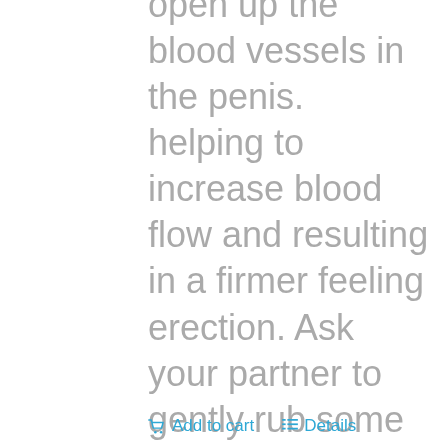open up the blood vessels in the penis. helping to increase blood flow and resulting in a firmer feeling erection. Ask your partner to gently rub some on your balls and then blow for a mind blowing tingling sensation and Lovely cooling feeling. FAQ's Can I use ID Pleasure with condoms? Yes. ID Pleasure is a water based condom friendly lubricant.
Add to cart   Details